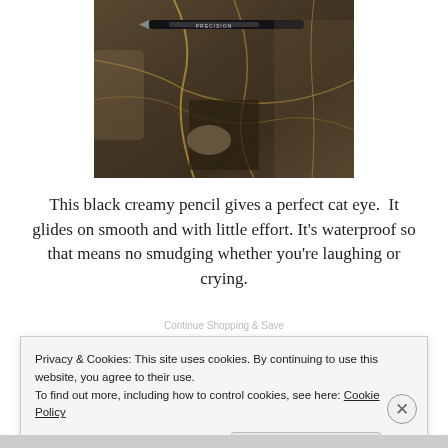[Figure (photo): A dark brown marble surface with golden veining, resting against a stone backdrop. A black eyeliner pencil with silver text is placed horizontally across the top of the marble.]
This black creamy pencil gives a perfect cat eye.  It glides on smooth and with little effort. It's waterproof so that means no smudging whether you're laughing or crying.
Privacy & Cookies: This site uses cookies. By continuing to use this website, you agree to their use.
To find out more, including how to control cookies, see here: Cookie Policy
Close and accept